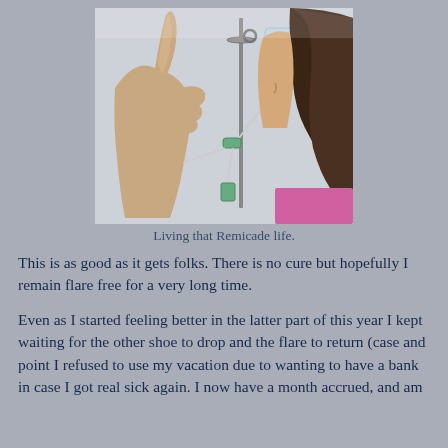[Figure (photo): Person in a medical/hospital setting with an IV drip stand and IV bag visible, giving a thumbs-up gesture, with long dark hair, wearing a pink top.]
Living that Remicade life.
This is as good as it gets folks. There is no cure but hopefully I remain flare free for a very long time.
Even as I started feeling better in the latter part of this year I kept waiting for the other shoe to drop and the flare to return (case and point I refused to use my vacation due to wanting to have a bank in case I got real sick again. I now have a month accrued, and am